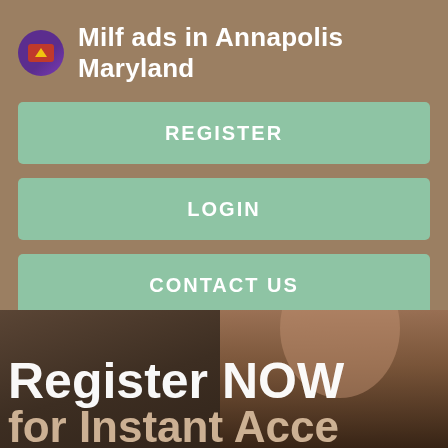Milf ads in Annapolis Maryland
REGISTER
LOGIN
CONTACT US
[Figure (photo): Promotional banner image with overlaid text reading 'Register NOW for Instant Acce[ss]' on a dark photographic background]